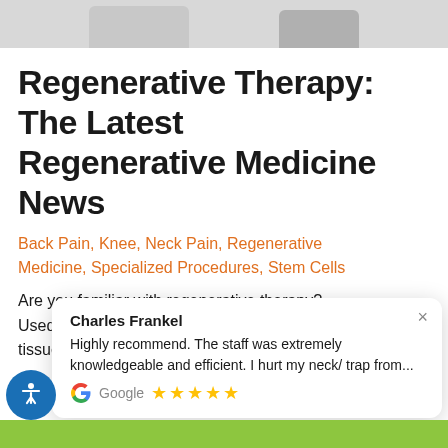[Figure (photo): Partial top image strip showing cropped figures/people in gray tones]
Regenerative Therapy: The Latest Regenerative Medicine News
Back Pain, Knee, Neck Pain, Regenerative Medicine, Specialized Procedures, Stem Cells
Are you familiar with regenerative therapy? Used as a natural method of pain relief and tissue regrowth, regenerative medicine is
Charles Frankel
Highly recommend. The staff was extremely knowledgeable and efficient. I hurt my neck/ trap from...
Google ★★★★★